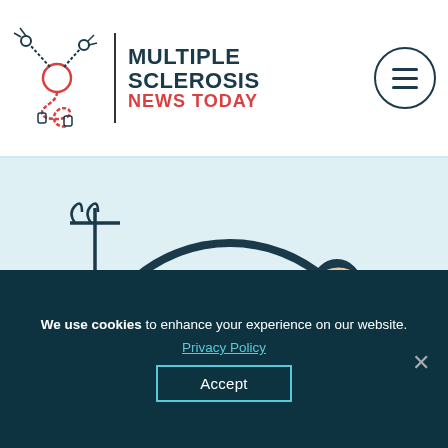[Figure (logo): Multiple Sclerosis News Today logo with stylized neuron icon, vertical divider, and text]
[Figure (illustration): Illustrated scene of a patient lying on an MRI machine table being assisted by a doctor in a white coat, with an IV stand on the left and a potted plant on the right, on a light blue background]
We use cookies to enhance your experience on our website.
Privacy Policy
Accept